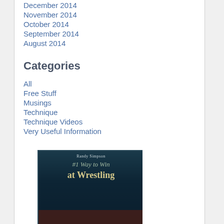December 2014
November 2014
October 2014
September 2014
August 2014
Categories
All
Free Stuff
Musings
Technique
Technique Videos
Very Useful Information
[Figure (illustration): Book cover for '#1 Way to Win at Wrestling' by Randy Simpson, dark teal/navy background with large bold text]